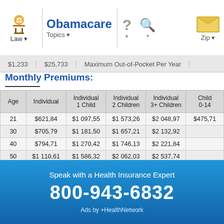Obamacare — Law / Topics / Zip navigation bar
Monthly Premiums:
| Age | Individual | Individual
1 Child | Individual
2 Children | Individual
3+ Children | Child
0-14 |
| --- | --- | --- | --- | --- | --- |
| 21 | $621,84 | $1 097,55 | $1 573,26 | $2 048,97 | $475,71 |
| 30 | $705,79 | $1 181,50 | $1 657,21 | $2 132,92 |  |
| 40 | $794,71 | $1 270,42 | $1 746,13 | $2 221,84 |  |
| 50 | $1 110,61 | $1 586,32 | $2 062,03 | $2 537,74 |  |
| 60 | $1 687,67 |  |  |  |  |
| Age | Couple | Couple
1 Child | Couple
2 Chidren | Couple
3+ Children | Child
0-14 |
| --- | --- | --- | --- | --- | --- |
| 21 | $1 243,68 | $1 719,39 | $2 195,10 | $2 670,81 | $475,71 |
Speak with a Health Insurance Expert
800-943-6832
Ads by +HealthNetwork